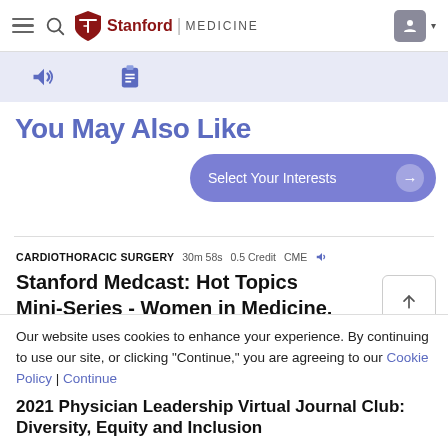Stanford Medicine navigation bar with hamburger menu, search icon, Stanford Medicine logo, and user profile icon
[Figure (screenshot): Toolbar with blue background containing audio speaker icon and clipboard/notes icon]
You May Also Like
Select Your Interests →
CARDIOTHORACIC SURGERY  30m 58s  0.5 Credit  CME  🔊
Stanford Medcast: Hot Topics Mini-Series - Women in Medicine, Part 1
Stanford Medicine
Our website uses cookies to enhance your experience. By continuing to use our site, or clicking "Continue," you are agreeing to our Cookie Policy | Continue
2021 Physician Leadership Virtual Journal Club: Diversity, Equity and Inclusion